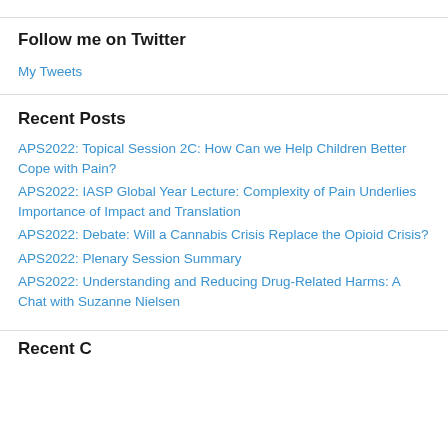Follow me on Twitter
My Tweets
Recent Posts
APS2022: Topical Session 2C: How Can we Help Children Better Cope with Pain?
APS2022: IASP Global Year Lecture: Complexity of Pain Underlies Importance of Impact and Translation
APS2022: Debate: Will a Cannabis Crisis Replace the Opioid Crisis?
APS2022: Plenary Session Summary
APS2022: Understanding and Reducing Drug-Related Harms: A Chat with Suzanne Nielsen
Recent Comments